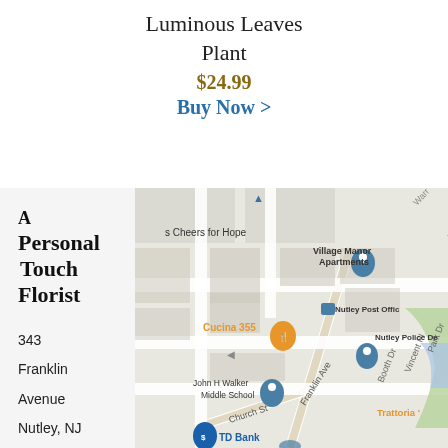Luminous Leaves Plant
$24.99
Buy Now >
A Personal Touch Florist
343 Franklin Avenue Nutley, NJ 07110
[Figure (map): Google Maps view showing the area around 343 Franklin Avenue, Nutley, NJ. Visible landmarks include Village Manor Apartments, Nutley Post Office, Nutley Police Department, John H Walker Middle School, Cucina 355 restaurant, TD Bank, and street names including Franklin Ave, Church St, Booth Dr, Vincent Pl, Park Dr, and Warr (Warren?). Trattoria restaurant partially visible.]